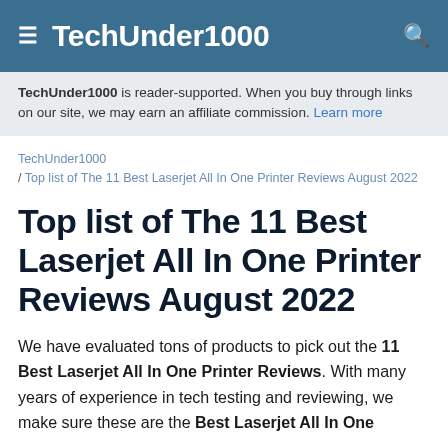TechUnder1000
TechUnder1000 is reader-supported. When you buy through links on our site, we may earn an affiliate commission. Learn more
TechUnder1000 / Top list of The 11 Best Laserjet All In One Printer Reviews August 2022
Top list of The 11 Best Laserjet All In One Printer Reviews August 2022
We have evaluated tons of products to pick out the 11 Best Laserjet All In One Printer Reviews. With many years of experience in tech testing and reviewing, we make sure these are the Best Laserjet All In One